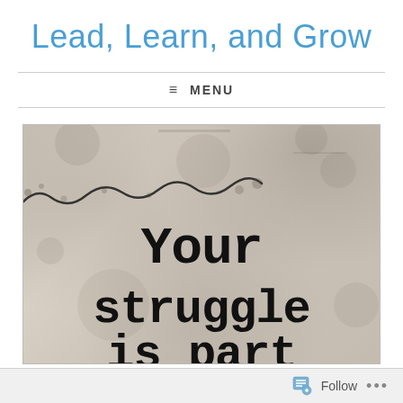Lead, Learn, and Grow
≡ MENU
[Figure (photo): Grunge-textured background image with a decorative squiggly line and large bold typewriter-style text reading 'Your struggle is part' (cut off at bottom)]
Follow ...